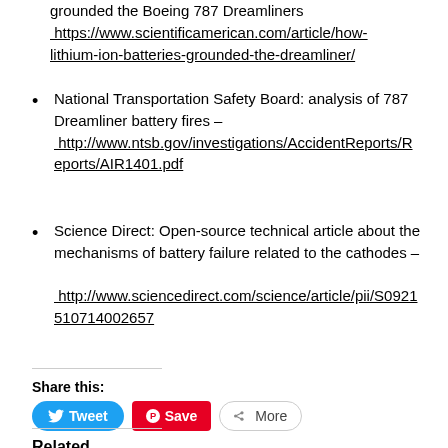grounded the Boeing 787 Dreamliners https://www.scientificamerican.com/article/how-lithium-ion-batteries-grounded-the-dreamliner/
National Transportation Safety Board: analysis of 787 Dreamliner battery fires – http://www.ntsb.gov/investigations/AccidentReports/Reports/AIR1401.pdf
Science Direct: Open-source technical article about the mechanisms of battery failure related to the cathodes – http://www.sciencedirect.com/science/article/pii/S0921510714002657
Share this:
Related